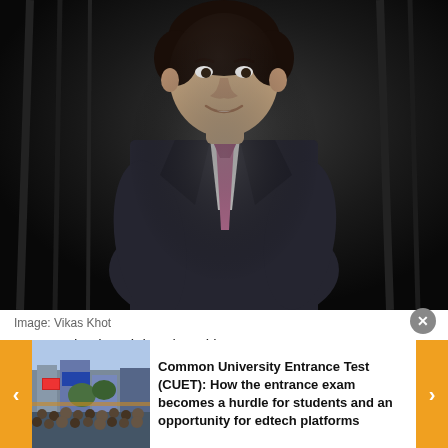[Figure (photo): Portrait of Anup Maheshwari in a dark suit with a pink tie, standing against a dark draped background, smiling. Studio-style professional photo.]
Image: Vikas Khot
Anup Maheshwari, head-equities & corporate strategy at DSP BlackRock, gets a thrill in meeting new entrepreneurs and
[Figure (photo): Thumbnail image showing a crowd of students outdoors, with banners visible.]
Common University Entrance Test (CUET): How the entrance exam becomes a hurdle for students and an opportunity for edtech platforms